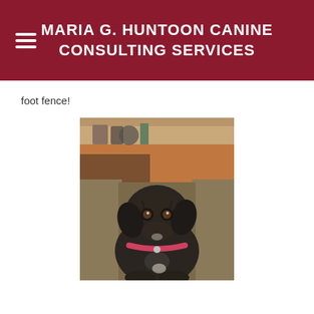MARIA G. HUNTOON CANINE CONSULTING SERVICES
foot fence!
[Figure (photo): A dark brindle dog with a pink collar sitting on a couch, looking directly at the camera. There is a wooden desk or shelf visible in the background.]